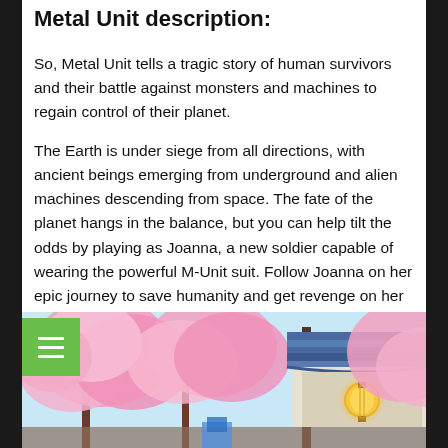Metal Unit description:
So, Metal Unit tells a tragic story of human survivors and their battle against monsters and machines to regain control of their planet.
The Earth is under siege from all directions, with ancient beings emerging from underground and alien machines descending from space. The fate of the planet hangs in the balance, but you can help tilt the odds by playing as Joanna, a new soldier capable of wearing the powerful M-Unit suit. Follow Joanna on her epic journey to save humanity and get revenge on her traitorous sister that has taken up arms with the alien race.
[Figure (screenshot): Pixel art game screenshot showing pink cherry blossom trees and a building with blue tiled roof and a glowing orange lantern]